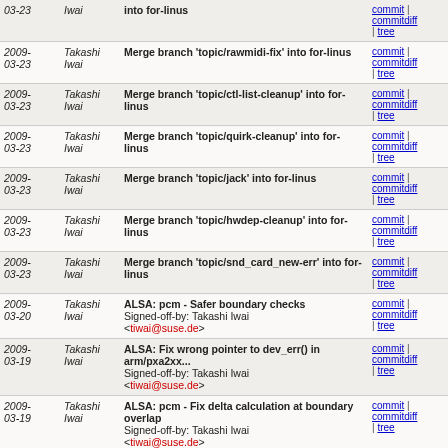| Date | Author | Commit message | Links |
| --- | --- | --- | --- |
| 2009-03-23 | Takashi Iwai | into for-linus | commit | commitdiff | tree |
| 2009-03-23 | Takashi Iwai | Merge branch 'topic/rawmidi-fix' into for-linus | commit | commitdiff | tree |
| 2009-03-23 | Takashi Iwai | Merge branch 'topic/ctl-list-cleanup' into for-linus | commit | commitdiff | tree |
| 2009-03-23 | Takashi Iwai | Merge branch 'topic/quirk-cleanup' into for-linus | commit | commitdiff | tree |
| 2009-03-23 | Takashi Iwai | Merge branch 'topic/jack' into for-linus | commit | commitdiff | tree |
| 2009-03-23 | Takashi Iwai | Merge branch 'topic/hwdep-cleanup' into for-linus | commit | commitdiff | tree |
| 2009-03-23 | Takashi Iwai | Merge branch 'topic/snd_card_new-err' into for-linus | commit | commitdiff | tree |
| 2009-03-20 | Takashi Iwai | ALSA: pcm - Safer boundary checks
Signed-off-by: Takashi Iwai <tiwai@suse.de> | commit | commitdiff | tree |
| 2009-03-19 | Takashi Iwai | ALSA: Fix wrong pointer to dev_err() in arm/pxa2xx...
Signed-off-by: Takashi Iwai <tiwai@suse.de> | commit | commitdiff | tree |
| 2009-03-19 | Takashi Iwai | ALSA: pcm - Fix delta calculation at boundary overlap
Signed-off-by: Takashi Iwai <tiwai@suse.de> | commit | commitdiff | tree |
| 2009-03-19 | Takashi Iwai | ALSA: pcm - Reset invalid position even without debug...
Signed-off-by: Takashi Iwai <tiwai@suse.de> | commit | commitdiff | tree |